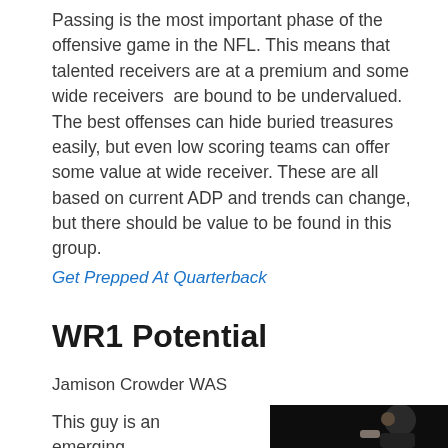Passing is the most important phase of the offensive game in the NFL. This means that talented receivers are at a premium and some wide receivers are bound to be undervalued. The best offenses can hide buried treasures easily, but even low scoring teams can offer some value at wide receiver. These are all based on current ADP and trends can change, but there should be value to be found in this group.
Get Prepped At Quarterback
WR1 Potential
Jamison Crowder WAS
This guy is an emerging
[Figure (photo): Photo of Jamison Crowder on a black background, partially visible]